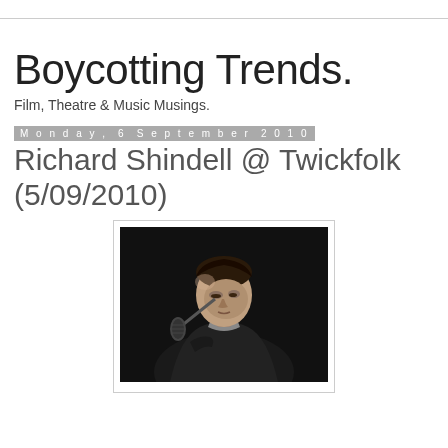Boycotting Trends.
Film, Theatre & Music Musings.
Monday, 6 September 2010
Richard Shindell @ Twickfolk (5/09/2010)
[Figure (photo): Black and white photograph of a man leaning forward at a microphone, looking downward, wearing a dark jacket]